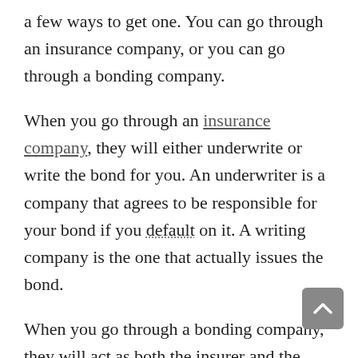a few ways to get one. You can go through an insurance company, or you can go through a bonding company.
When you go through an insurance company, they will either underwrite or write the bond for you. An underwriter is a company that agrees to be responsible for your bond if you default on it. A writing company is the one that actually issues the bond.
When you go through a bonding company, they will act as both the insurer and the issuer of the bond. They will also charge you a fee for their services. This fee is usually a percentage of the face value of the bond.